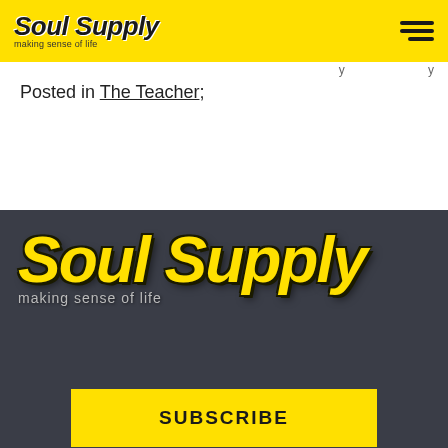Soul Supply - making sense of life
Posted in The Teacher;
[Figure (logo): Soul Supply logo with text 'making sense of life' on dark background in footer]
SUBSCRIBE